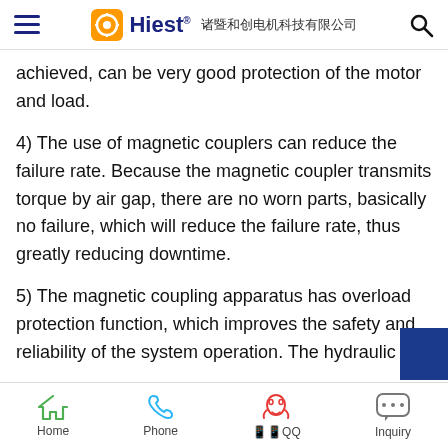Hiest 诸暨和创电机科技有限公司
achieved, can be very good protection of the motor and load.
4) The use of magnetic couplers can reduce the failure rate. Because the magnetic coupler transmits torque by air gap, there are no worn parts, basically no failure, which will reduce the failure rate, thus greatly reducing downtime.
5) The magnetic coupling apparatus has overload protection function, which improves the safety and reliability of the system operation. The hydraulic
Home  Phone  QQ  Inquiry